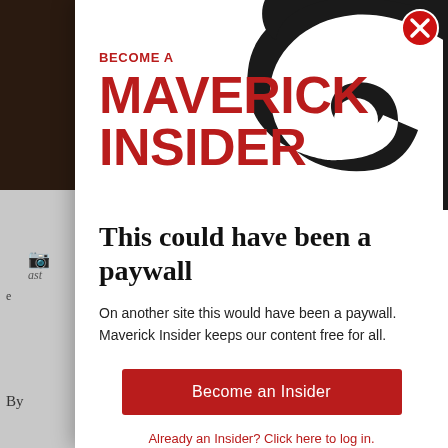[Figure (screenshot): Background webpage content partially visible behind modal overlay, showing grayed out article text and a camera icon.]
[Figure (logo): Maverick Insider modal popup with large black swirl/question-mark graphic in top right, red close button (X) in top right corner, and red 'BECOME A MAVERICK INSIDER' branding text on left.]
BECOME A MAVERICK INSIDER
This could have been a paywall
On another site this would have been a paywall. Maverick Insider keeps our content free for all.
Become an Insider
Already an Insider? Click here to log in.